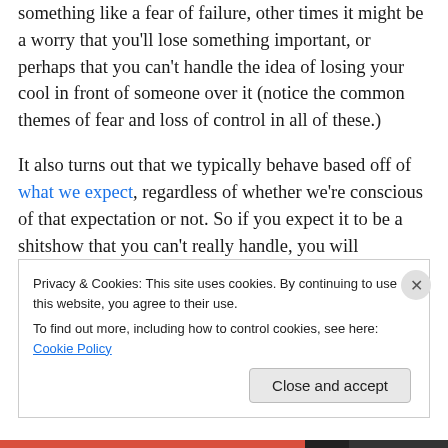something like a fear of failure, other times it might be a worry that you'll lose something important, or perhaps that you can't handle the idea of losing your cool in front of someone over it (notice the common themes of fear and loss of control in all of these.)
It also turns out that we typically behave based off of what we expect, regardless of whether we're conscious of that expectation or not. So if you expect it to be a shitshow that you can't really handle, you will essentially avoid it as long as possible. If you're living with three spoons and you expect it to be a five spoon task, you may never actually
Privacy & Cookies: This site uses cookies. By continuing to use this website, you agree to their use.
To find out more, including how to control cookies, see here: Cookie Policy